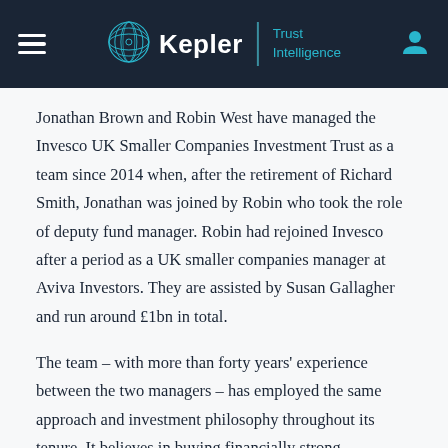Kepler | Trust Intelligence
Jonathan Brown and Robin West have managed the Invesco UK Smaller Companies Investment Trust as a team since 2014 when, after the retirement of Richard Smith, Jonathan was joined by Robin who took the role of deputy fund manager. Robin had rejoined Invesco after a period as a UK smaller companies manager at Aviva Investors. They are assisted by Susan Gallagher and run around £1bn in total.
The team – with more than forty years' experience between the two managers – has employed the same approach and investment philosophy throughout its tenure. It believes in buying financially strong businesses that can deliver growth independently of